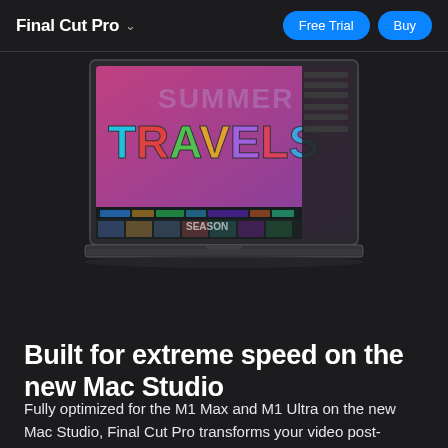Final Cut Pro
[Figure (screenshot): MacBook laptop showing Final Cut Pro video editing software with a colorful 'SUMMER TRAVELS' motion graphics project open, displaying the timeline and media browser panels]
Built for extreme speed on the new Mac Studio
Fully optimized for the M1 Max and M1 Ultra on the new Mac Studio, Final Cut Pro transforms your video post-production with unrivaled performance. Complex tasks, like video analysis for object tracking or automatic organizing, are lightning-fast